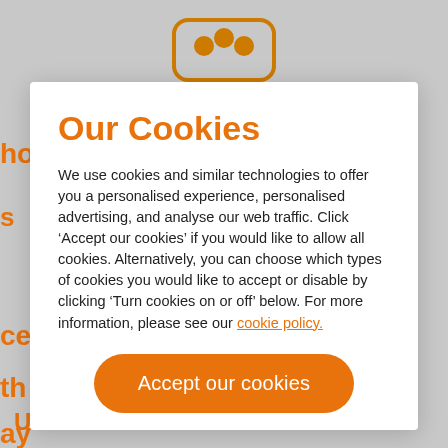[Figure (screenshot): Partial website background visible behind cookie consent modal, showing orange navigation text fragments and a partial logo icon at top]
Our Cookies
We use cookies and similar technologies to offer you a personalised experience, personalised advertising, and analyse our web traffic. Click ‘Accept our cookies’ if you would like to allow all cookies. Alternatively, you can choose which types of cookies you would like to accept or disable by clicking ‘Turn cookies on or off’ below. For more information, please see our cookie policy.
Accept our cookies